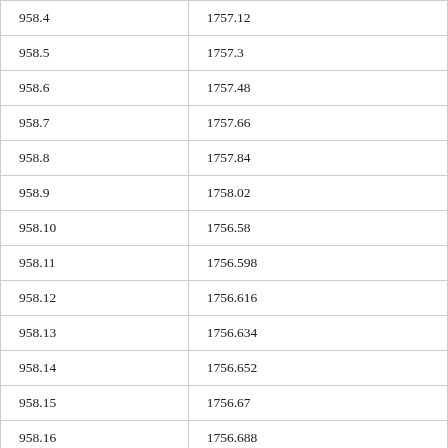| 958.4 | 1757.12 |
| 958.5 | 1757.3 |
| 958.6 | 1757.48 |
| 958.7 | 1757.66 |
| 958.8 | 1757.84 |
| 958.9 | 1758.02 |
| 958.10 | 1756.58 |
| 958.11 | 1756.598 |
| 958.12 | 1756.616 |
| 958.13 | 1756.634 |
| 958.14 | 1756.652 |
| 958.15 | 1756.67 |
| 958.16 | 1756.688 |
| 958.17 | 1756.706 |
| 958.18 | 1756.724 |
| 958.19 | 1756.742 |